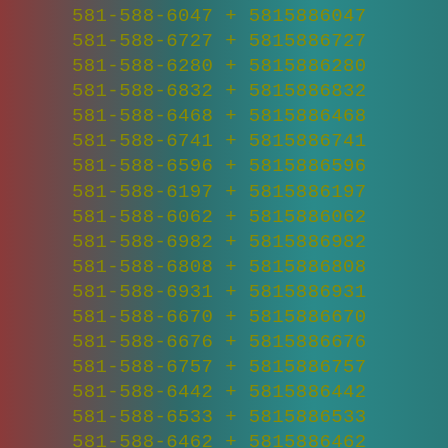581-588-6047 + 5815886047
581-588-6727 + 5815886727
581-588-6280 + 5815886280
581-588-6832 + 5815886832
581-588-6468 + 5815886468
581-588-6741 + 5815886741
581-588-6596 + 5815886596
581-588-6197 + 5815886197
581-588-6062 + 5815886062
581-588-6982 + 5815886982
581-588-6808 + 5815886808
581-588-6931 + 5815886931
581-588-6670 + 5815886670
581-588-6676 + 5815886676
581-588-6757 + 5815886757
581-588-6442 + 5815886442
581-588-6533 + 5815886533
581-588-6462 + 5815886462
581-588-6296 + 5815886296
581-588-6659 + 5815886659
581-588-6577 + 5815886577
581-588-6641 + 5815886641
581-588-6099 + 5815886099